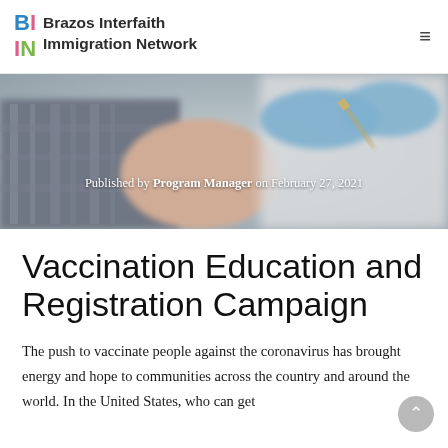BI Brazos Interfaith Immigration Network
[Figure (photo): Close-up photo of a person receiving a vaccine injection in the arm from a gloved healthcare worker; blurred clinical background.]
Published by Program Manager on February 27, 2021
Vaccination Education and Registration Campaign
The push to vaccinate people against the coronavirus has brought energy and hope to communities across the country and around the world. In the United States, who can get